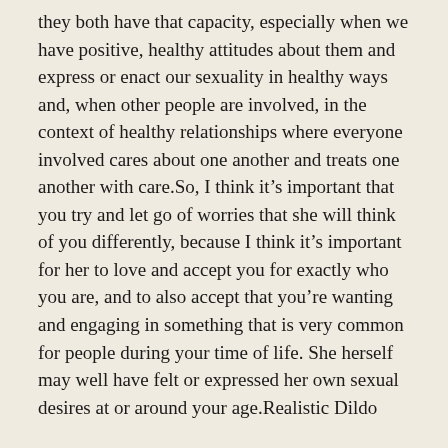they both have that capacity, especially when we have positive, healthy attitudes about them and express or enact our sexuality in healthy ways and, when other people are involved, in the context of healthy relationships where everyone involved cares about one another and treats one another with care.So, I think it's important that you try and let go of worries that she will think of you differently, because I think it's important for her to love and accept you for exactly who you are, and to also accept that you're wanting and engaging in something that is very common for people during your time of life. She herself may well have felt or expressed her own sexual desires at or around your age.Realistic Dildo
The telltale odor couldn be chalked up to the older participants lifestyle or environment. The researchers asked all of the people who provided underarm pads to